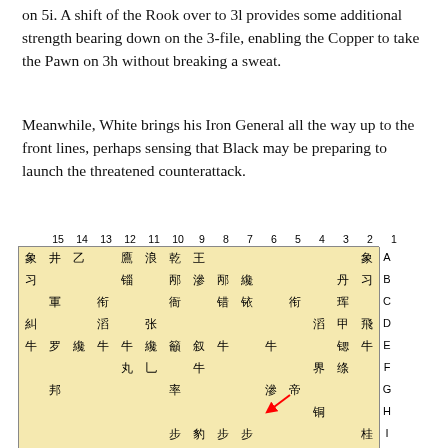on 5i. A shift of the Rook over to 3l provides some additional strength bearing down on the 3-file, enabling the Copper to take the Pawn on 3h without breaking a sweat.
Meanwhile, White brings his Iron General all the way up to the front lines, perhaps sensing that Black may be preparing to launch the threatened counterattack.
[Figure (other): A Shogi board diagram showing a game position. The board is 15 columns (labeled 15 to 1, left to right) and multiple rows (labeled A through J and beyond). Various shogi pieces are placed on the board with kanji characters. A red arrow points to a piece near column 4-5, row G.]